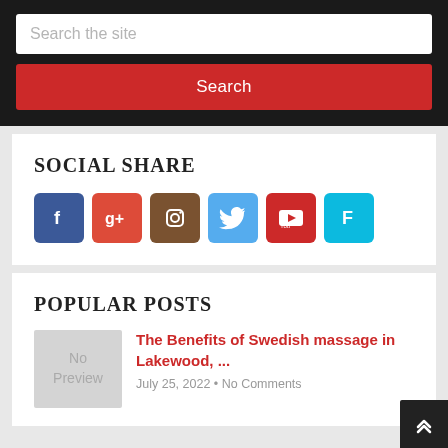Search the site
Search
SOCIAL SHARE
[Figure (infographic): Social share icons: Facebook (blue), Google+ (red-orange), Instagram (brown), Twitter (light blue), YouTube (red), Foursquare (teal)]
POPULAR POSTS
[Figure (photo): No Preview placeholder image]
The Benefits of Swedish massage in Lakewood, ...
July 25, 2022 • No Comments